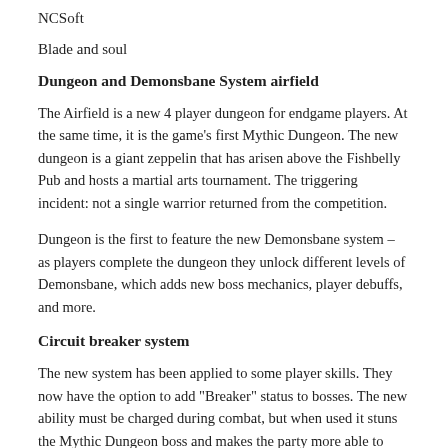NCSoft
Blade and soul
Dungeon and Demonsbane System airfield
The Airfield is a new 4 player dungeon for endgame players. At the same time, it is the game's first Mythic Dungeon. The new dungeon is a giant zeppelin that has arisen above the Fishbelly Pub and hosts a martial arts tournament. The triggering incident: not a single warrior returned from the competition.
Dungeon is the first to feature the new Demonsbane system – as players complete the dungeon they unlock different levels of Demonsbane, which adds new boss mechanics, player debuffs, and more.
Circuit breaker system
The new system has been applied to some player skills. They now have the option to add "Breaker" status to bosses. The new ability must be charged during combat, but when used it stuns the Mythic Dungeon boss and makes the party more able to attack the boss.